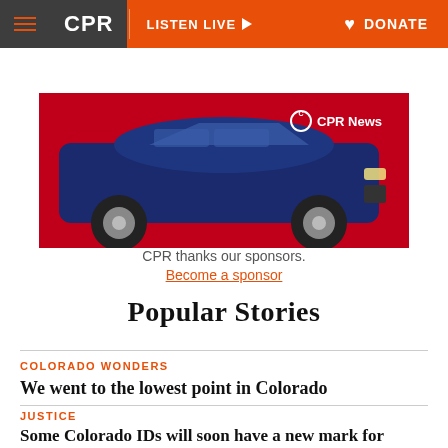CPR | LISTEN LIVE | DONATE
[Figure (photo): Blue SUV on red background with CPR News logo badge — sponsor advertisement]
CPR thanks our sponsors. Become a sponsor
Popular Stories
COLORADO WONDERS — We went to the lowest point in Colorado
JUSTICE — Some Colorado IDs will soon have a new mark for 'hidden' disabilities